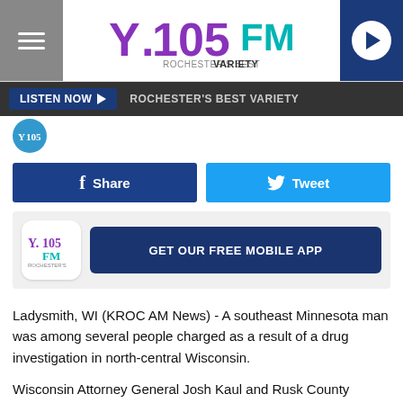Y.105FM Rochester's Best Variety
LISTEN NOW   ROCHESTER'S BEST VARIETY
[Figure (logo): Y105FM radio station logo with partial circular icon]
f Share
Tweet
GET OUR FREE MOBILE APP
Ladysmith, WI (KROC AM News) - A southeast Minnesota man was among several people charged as a result of a drug investigation in north-central Wisconsin.
Wisconsin Attorney General Josh Kaul and Rusk County Sheriff Jeff Wallace Tuesday announced that 11 people have been charged in a drug conspiracy case involving the sale and distribution of methamphetamine.